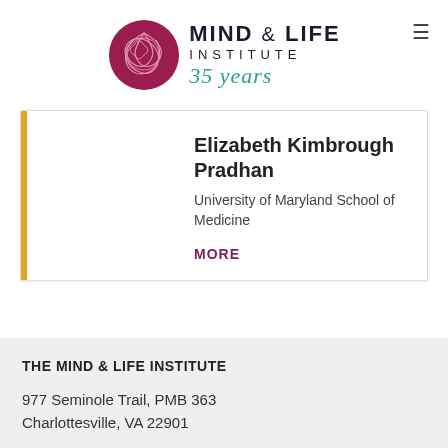[Figure (logo): Mind & Life Institute logo with circular flower emblem, text 'MIND & LIFE INSTITUTE' and '35 years' in teal cursive]
Elizabeth Kimbrough Pradhan
University of Maryland School of Medicine
MORE
THE MIND & LIFE INSTITUTE
977 Seminole Trail, PMB 363
Charlottesville, VA 22901